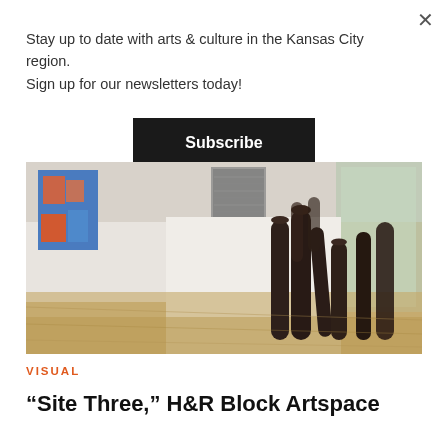Stay up to date with arts & culture in the Kansas City region. Sign up for our newsletters today!
Subscribe
[Figure (photo): Gallery interior showing dark cylindrical sculptures standing on a wood floor, with abstract textile artworks mounted on white walls; glass windows visible in background.]
VISUAL
“Site Three,” H&R Block Artspace